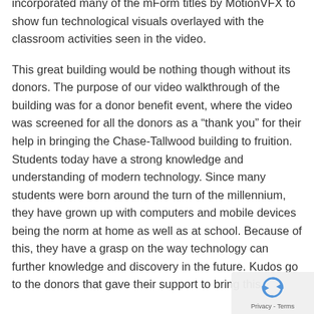incorporated many of the mForm titles by MotionVFX to show fun technological visuals overlayed with the classroom activities seen in the video.
This great building would be nothing though without its donors. The purpose of our video walkthrough of the building was for a donor benefit event, where the video was screened for all the donors as a “thank you” for their help in bringing the Chase-Tallwood building to fruition. Students today have a strong knowledge and understanding of modern technology. Since many students were born around the turn of the millennium, they have grown up with computers and mobile devices being the norm at home as well as at school. Because of this, they have a grasp on the way technology can further knowledge and discovery in the future. Kudos go to the donors that gave their support to bring this
[Figure (other): Cookie consent badge with reCAPTCHA icon and Privacy - Terms text]